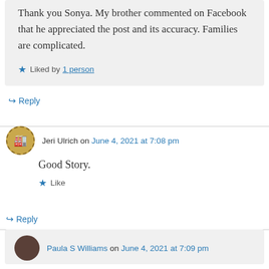Thank you Sonya. My brother commented on Facebook that he appreciated the post and its accuracy. Families are complicated.
Liked by 1 person
Reply
Jeri Ulrich on June 4, 2021 at 7:08 pm
Good Story.
Like
Reply
Paula S Williams on June 4, 2021 at 7:09 pm